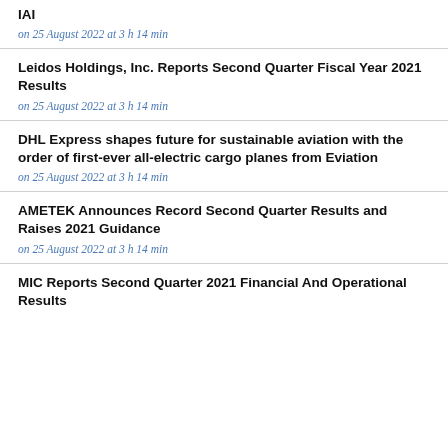IAI
on 25 August 2022 at 3 h 14 min
Leidos Holdings, Inc. Reports Second Quarter Fiscal Year 2021 Results
on 25 August 2022 at 3 h 14 min
DHL Express shapes future for sustainable aviation with the order of first-ever all-electric cargo planes from Eviation
on 25 August 2022 at 3 h 14 min
AMETEK Announces Record Second Quarter Results and Raises 2021 Guidance
on 25 August 2022 at 3 h 14 min
MIC Reports Second Quarter 2021 Financial And Operational Results